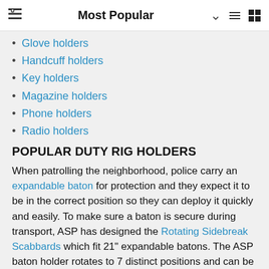Most Popular
Glove holders
Handcuff holders
Key holders
Magazine holders
Phone holders
Radio holders
POPULAR DUTY RIG HOLDERS
When patrolling the neighborhood, police carry an expandable baton for protection and they expect it to be in the correct position so they can deploy it quickly and easily. To make sure a baton is secure during transport, ASP has designed the Rotating Sidebreak Scabbards which fit 21" expandable batons. The ASP baton holder rotates to 7 distinct positions and can be locked upright on a police belt. This baton holder is available in 5 different finishes including, ballistic nylon, basketweave and high gloss.
Having medical gloves on your person at all times is also important. You never know when you will have to collect evidence